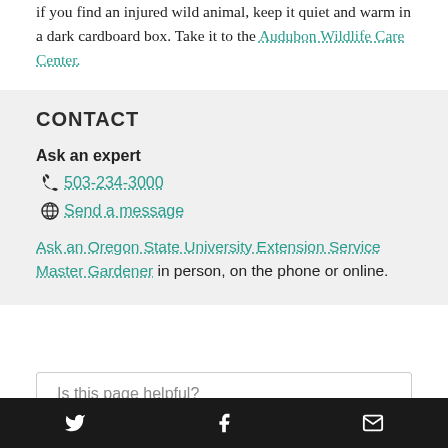if you find an injured wild animal, keep it quiet and warm in a dark cardboard box. Take it to the Audubon Wildlife Care Center.
CONTACT
Ask an expert
503-234-3000
Send a message
Ask an Oregon State University Extension Service Master Gardener in person, on the phone or online.
Is this page helpful?